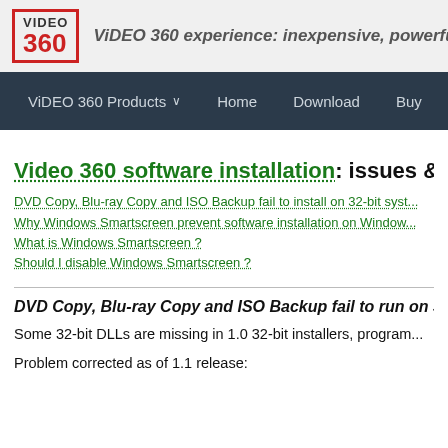ViDEO 360 experience: inexpensive, powerful w...
ViDEO 360 Products   Home   Download   Buy
Video 360 software installation: issues & FAQ
DVD Copy, Blu-ray Copy and ISO Backup fail to install on 32-bit syst...
Why Windows Smartscreen prevent software installation on Window...
What is Windows Smartscreen ?
Should I disable Windows Smartscreen ?
DVD Copy, Blu-ray Copy and ISO Backup fail to run on 32...
Some 32-bit DLLs are missing in 1.0 32-bit installers, program...
Problem corrected as of 1.1 release: